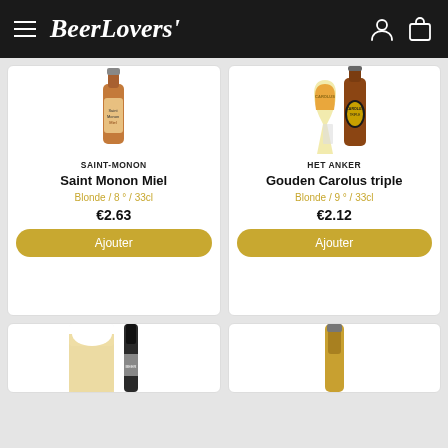BeerLovers
[Figure (photo): Saint Monon Miel beer bottle (amber/orange, partial view, top cropped)]
SAINT-MONON
Saint Monon Miel
Blonde / 8° / 33cl
€2.63
Ajouter
[Figure (photo): Gouden Carolus triple beer glass and bottle (Carolus branded, golden beer)]
HET ANKER
Gouden Carolus triple
Blonde / 9° / 33cl
€2.12
Ajouter
[Figure (photo): Bottom partial card - beer with foam, bottle visible]
[Figure (photo): Bottom partial card - beer bottle neck visible]